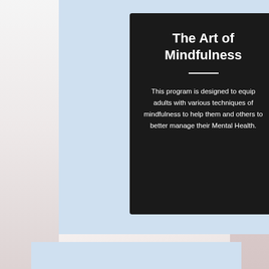The Art of Mindfulness
This program is designed to equip adults with various techniques of mindfulness to help them and others to better manage their Mental Health.